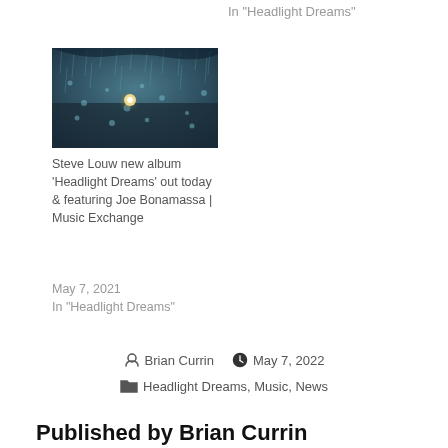In "Headlight Dreams"
[Figure (photo): Rainy car windshield at night with a blurry headlight visible through water droplets]
Steve Louw new album 'Headlight Dreams' out today & featuring Joe Bonamassa | Music Exchange
May 7, 2021
In "Headlight Dreams"
Brian Currin  May 7, 2022
Headlight Dreams, Music, News
Published by Brian Currin